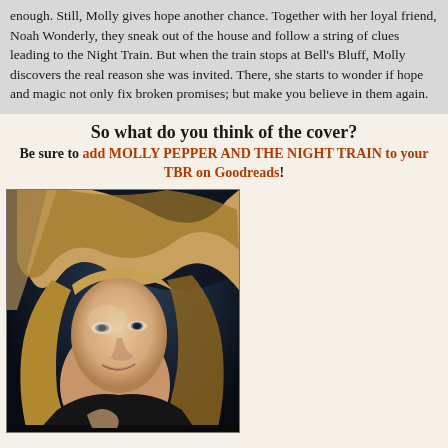enough. Still, Molly gives hope another chance. Together with her loyal friend, Noah Wonderly, they sneak out of the house and follow a string of clues leading to the Night Train. But when the train stops at Bell's Bluff, Molly discovers the real reason she was invited. There, she starts to wonder if hope and magic not only fix broken promises; but make you believe in them again.
So what do you think of the cover?
Be sure to add MOLLY PEPPER AND THE NIGHT TRAIN to your TBR on Goodreads!
[Figure (photo): Portrait photo of a woman with long blonde hair, wearing a dark top, against a dark blue background, smiling slightly at the camera.]